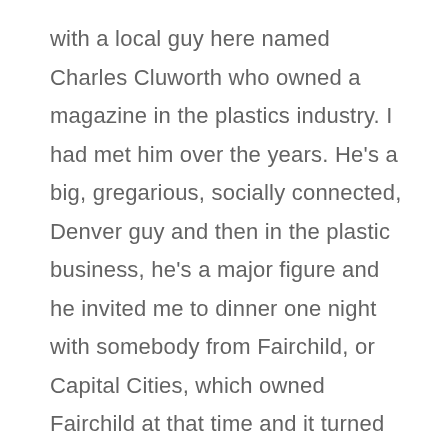with a local guy here named Charles Cluworth who owned a magazine in the plastics industry. I had met him over the years. He's a big, gregarious, socially connected, Denver guy and then in the plastic business, he's a major figure and he invited me to dinner one night with somebody from Fairchild, or Capital Cities, which owned Fairchild at that time and it turned out this guy...
KELLER: Fairchild Publications?
MAXWELL: Fairchild Publications. It turned out this guy, who's a real character named John